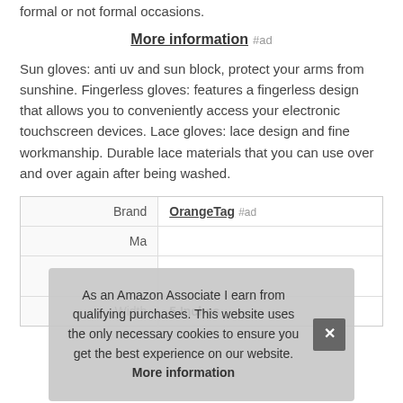formal or not formal occasions.
More information #ad
Sun gloves: anti uv and sun block, protect your arms from sunshine. Fingerless gloves: features a fingerless design that allows you to conveniently access your electronic touchscreen devices. Lace gloves: lace design and fine workmanship. Durable lace materials that you can use over and over again after being washed.
| Brand | OrangeTag #ad |
| Ma… |  |
|  |  |
| Width | 5 Inches |
As an Amazon Associate I earn from qualifying purchases. This website uses the only necessary cookies to ensure you get the best experience on our website. More information